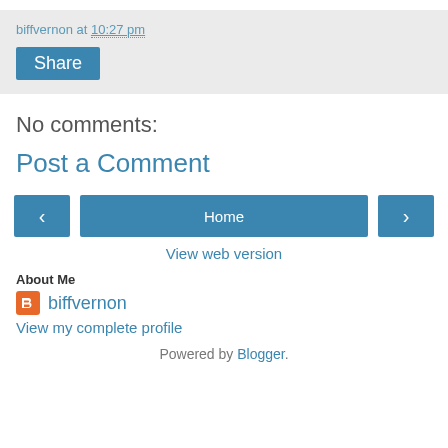biffvernon at 10:27 pm
Share
No comments:
Post a Comment
‹  Home  ›
View web version
About Me
biffvernon
View my complete profile
Powered by Blogger.